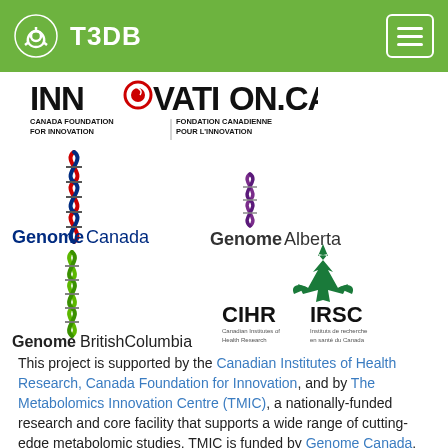T3DB
[Figure (logo): INNOVATION.CA - Canada Foundation for Innovation / Fondation Canadienne Pour L'Innovation logo]
[Figure (logo): Genome Canada logo with red/blue DNA helix icon]
[Figure (logo): Genome Alberta logo with purple DNA helix icon]
[Figure (logo): Genome British Columbia logo with green DNA helix icon]
[Figure (logo): CIHR IRSC - Canadian Institutes of Health Research / Instituts de recherche en santé du Canada logo with green maple leaf icon]
This project is supported by the Canadian Institutes of Health Research, Canada Foundation for Innovation, and by The Metabolomics Innovation Centre (TMIC), a nationally-funded research and core facility that supports a wide range of cutting-edge metabolomic studies. TMIC is funded by Genome Canada, Genome Alberta, and Genome British Columbia, a not-for-profit organization that is leading Canada's national